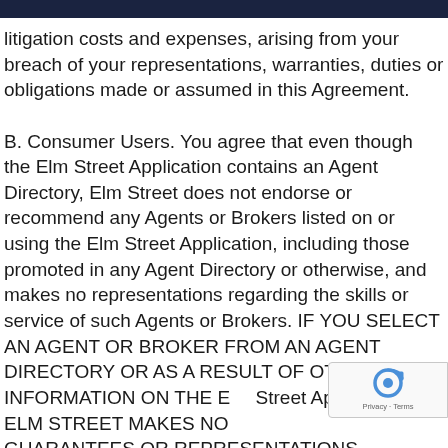litigation costs and expenses, arising from your breach of your representations, warranties, duties or obligations made or assumed in this Agreement.

B. Consumer Users. You agree that even though the Elm Street Application contains an Agent Directory, Elm Street does not endorse or recommend any Agents or Brokers listed on or using the Elm Street Application, including those promoted in any Agent Directory or otherwise, and makes no representations regarding the skills or service of such Agents or Brokers. IF YOU SELECT AN AGENT OR BROKER FROM AN AGENT DIRECTORY OR AS A RESULT OF OTHER INFORMATION ON THE Elm Street Application, ELM STREET MAKES NO GUARANTEES OR REPRESENTATIONS REGARDING
[Figure (other): reCAPTCHA privacy badge with circular arrow icon and 'Privacy - Terms' text]